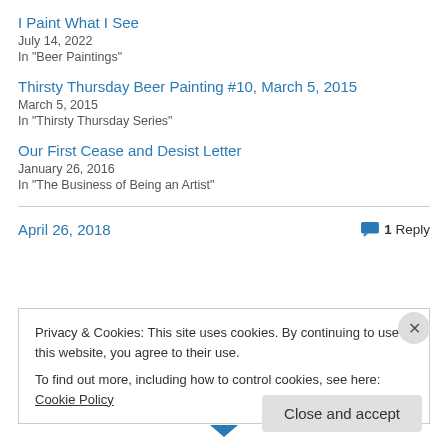I Paint What I See
July 14, 2022
In "Beer Paintings"
Thirsty Thursday Beer Painting #10, March 5, 2015
March 5, 2015
In "Thirsty Thursday Series"
Our First Cease and Desist Letter
January 26, 2016
In "The Business of Being an Artist"
April 26, 2018
1 Reply
Privacy & Cookies: This site uses cookies. By continuing to use this website, you agree to their use. To find out more, including how to control cookies, see here: Cookie Policy
Close and accept